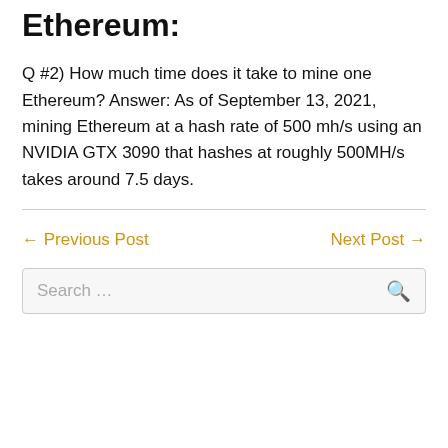Ethereum:
Q #2) How much time does it take to mine one Ethereum? Answer: As of September 13, 2021, mining Ethereum at a hash rate of 500 mh/s using an NVIDIA GTX 3090 that hashes at roughly 500MH/s takes around 7.5 days.
← Previous Post
Next Post →
Search …